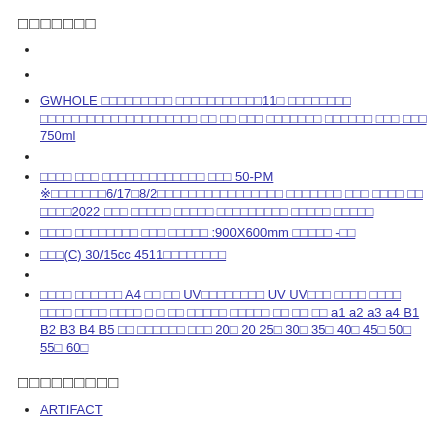□□□□□□□
GWHOLE □□□□□□□□□ □□□□□□□□□□□11□ □□□□□□□□ □□□□□□□□□□□□□□□□□□□□ □□ □□ □□□ □□□□□□□ □□□□□□ □□□ □□□ 750ml
□□□□ □□□ □□□□□□□□□□□□□ □□□ 50-PM ※□□□□□□□6/17□8/2□□□□□□□□□□□□□□□□ □□□□□□□ □□□ □□□□ □□ □□□□2022 □□□ □□□□□ □□□□□ □□□□□□□□□ □□□□□ □□□□□
□□□□ □□□□□□□□ □□□ □□□□□ :900X600mm □□□□□ -□□
□□□(C) 30/15cc 4511□□□□□□□□
□□□□ □□□□□□ A4 □□ □□ UV□□□□□□□□ UV UV□□□ □□□□ □□□□ □□□□ □□□□ □□□□ □ □ □□ □□□□□ □□□□□ □□ □□ □□ a1 a2 a3 a4 B1 B2 B3 B4 B5 □□ □□□□□□ □□□ 20□ 20 25□ 30□ 35□ 40□ 45□ 50□ 55□ 60□
□□□□□□□□□
ARTIFACT